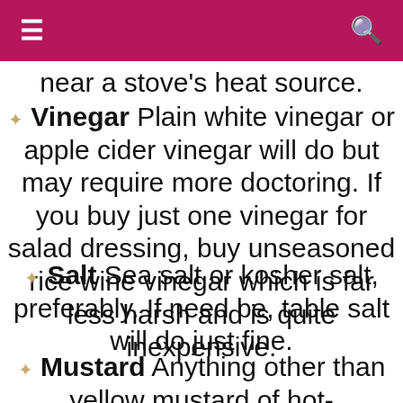≡  🔍
near a stove's heat source.
Vinegar Plain white vinegar or apple cider vinegar will do but may require more doctoring. If you buy just one vinegar for salad dressing, buy unseasoned rice wine vinegar which is far less harsh and is quite inexpensive.
Salt Sea salt or kosher salt, preferably. If need be, table salt will do just fine.
Mustard Anything other than yellow mustard of hot-